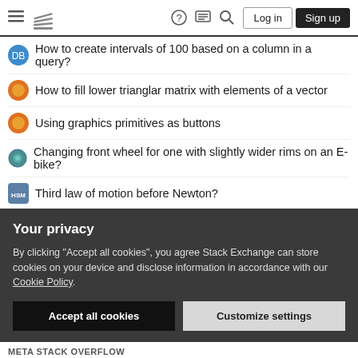Stack Exchange navigation header with hamburger menu, logo, help, chat, search icons, Log in and Sign up buttons
How to create intervals of 100 based on a column in a query?
How to fill lower trianglar matrix with elements of a vector
Using graphics primitives as buttons
Changing front wheel for one with slightly wider rims on an E-bike?
Third law of motion before Newton?
Is possible to control "gasleft()" and exit of a loop before "out of gas" return?
LuaLaTeX - tabularx - Why does this table not fit on the previous page?
What is the best way to replace the if true condition in LWC
Your privacy
By clicking "Accept all cookies", you agree Stack Exchange can store cookies on your device and disclose information in accordance with our Cookie Policy.
Accept all cookies   Customize settings
META STACK OVERFLOW